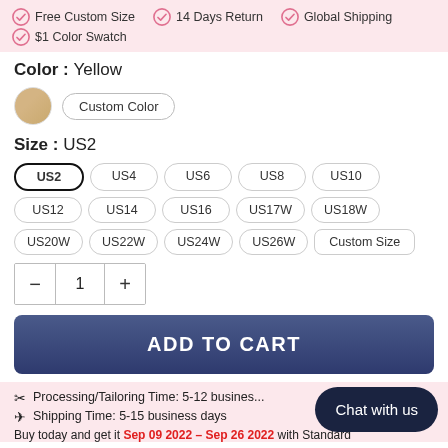Free Custom Size  14 Days Return  Global Shipping  $1 Color Swatch
Color : Yellow
[Figure (illustration): Yellow/tan color swatch circle with Custom Color button]
Size : US2
Size options: US2 (selected), US4, US6, US8, US10, US12, US14, US16, US17W, US18W, US20W, US22W, US24W, US26W, Custom Size
Quantity selector: minus, 1, plus
ADD TO CART
Processing/Tailoring Time: 5-12 business days
Shipping Time: 5-15 business days
Buy today and get it Sep 09 2022 – Sep 26 2022 with Standard
Chat with us